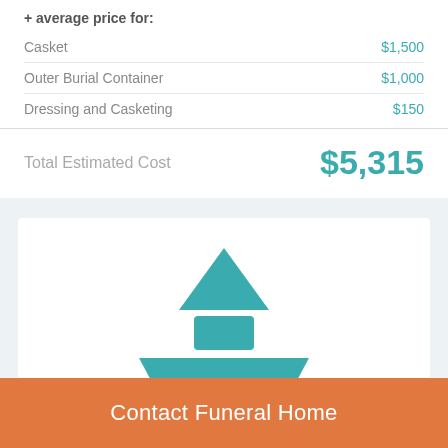+ average price for:
| Item | Price |
| --- | --- |
| Casket | $1,500 |
| Outer Burial Container | $1,000 |
| Dressing and Casketing | $150 |
Total Estimated Cost   $5,315
[Figure (illustration): Funeral home icon: a teal pyramid/triangle on top, a rectangular block in the middle, and a wide trapezoid base, forming a stylized building or memorial structure.]
Contact Funeral Home